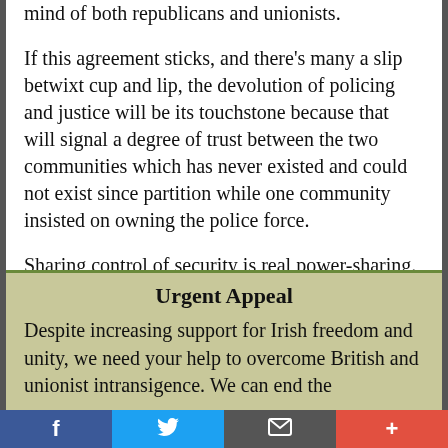mind of both republicans and unionists.
If this agreement sticks, and there’s many a slip betwixt cup and lip, the devolution of policing and justice will be its touchstone because that will signal a degree of trust between the two communities which has never existed and could not exist since partition while one community insisted on owning the police force.
Sharing control of security is real power-sharing.
Urgent Appeal
Despite increasing support for Irish freedom and unity, we need your help to overcome British and unionist intransigence. We can end the